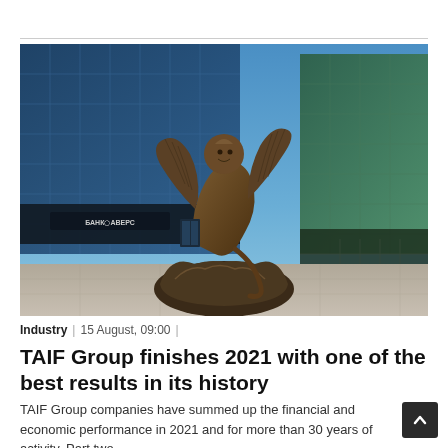[Figure (photo): Bronze winged griffin statue on a rock pedestal in front of a modern glass office building with 'БАНК АВЕРС' signage visible in the background. Blue sky overhead.]
Industry | 15 August, 09:00 |
TAIF Group finishes 2021 with one of the best results in its history
TAIF Group companies have summed up the financial and economic performance in 2021 and for more than 30 years of activity. Part two